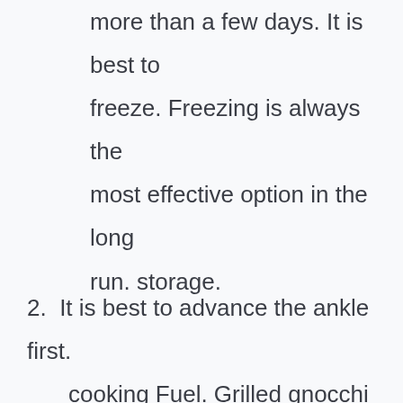more than a few days. It is best to freeze. Freezing is always the most effective option in the long run. storage.
2. It is best to advance the ankle first. cooking Fuel. Grilled gnocchi is more durable and will last longer in the freezer than cooked ones.